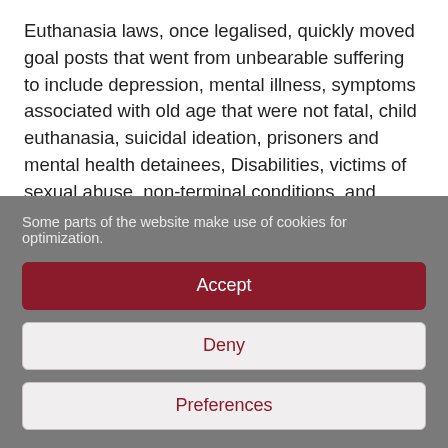Euthanasia laws, once legalised, quickly moved goal posts that went from unbearable suffering to include depression, mental illness, symptoms associated with old age that were not fatal, child euthanasia, suicidal ideation, prisoners and mental health detainees, Disabilities, victims of sexual abuse, non-terminal conditions, and psychiatric disorders. Studies also cited how doctors and nurses often deliberately hastened death of a patient without explicit
Some parts of the website make use of cookies for optimization.
Accept
Deny
Preferences